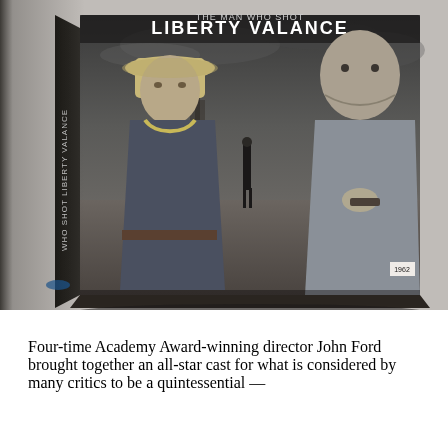[Figure (photo): Blu-ray/DVD box set of 'The Man Who Shot Liberty Valance' (1963) — a black and white western film. The box cover shows John Wayne in a cowboy hat on the left, a lone figure standing in a dusty street in the center background, and James Stewart holding a gun on the right, all against a dramatic cloudy sky. The spine text reads 'WHO SHOT LIBERTY VALANCE'.]
Four-time Academy Award-winning director John Ford brought together an all-star cast for what is considered by many critics to be a quintessential —